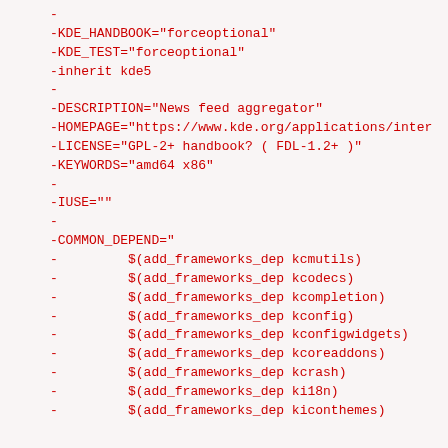-
-KDE_HANDBOOK="forceoptional"
-KDE_TEST="forceoptional"
-inherit kde5
-
-DESCRIPTION="News feed aggregator"
-HOMEPAGE="https://www.kde.org/applications/inter
-LICENSE="GPL-2+ handbook? ( FDL-1.2+ )"
-KEYWORDS="amd64 x86"
-
-IUSE=""
-
-COMMON_DEPEND="
-         $(add_frameworks_dep kcmutils)
-         $(add_frameworks_dep kcodecs)
-         $(add_frameworks_dep kcompletion)
-         $(add_frameworks_dep kconfig)
-         $(add_frameworks_dep kconfigwidgets)
-         $(add_frameworks_dep kcoreaddons)
-         $(add_frameworks_dep kcrash)
-         $(add_frameworks_dep ki18n)
-         $(add_frameworks_dep kiconthemes)